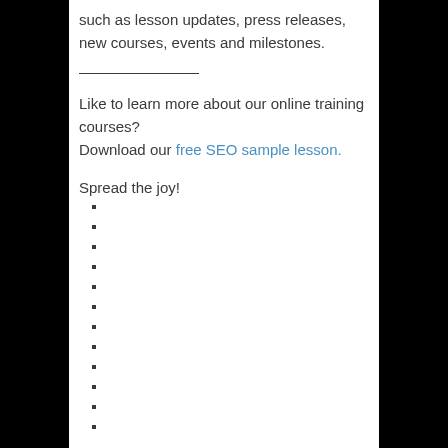such as lesson updates, press releases, new courses, events and milestones.
Like to learn more about our online training courses? Download our free SEO sample lesson.
Spread the joy!